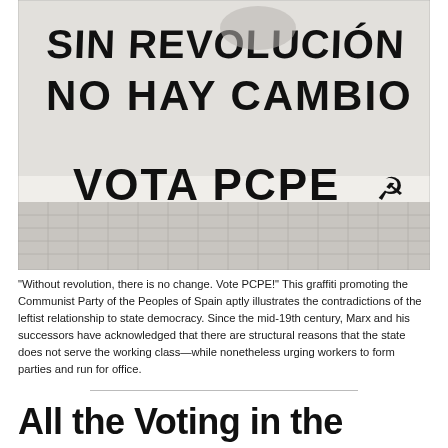[Figure (photo): Black and white photograph of graffiti on a wall reading 'Sin Revolución No Hay Cambio Vota PCPE' with hammer-and-sickle symbol, on a pale concrete wall with tiled pavement visible at bottom.]
"Without revolution, there is no change. Vote PCPE!" This graffiti promoting the Communist Party of the Peoples of Spain aptly illustrates the contradictions of the leftist relationship to state democracy. Since the mid-19th century, Marx and his successors have acknowledged that there are structural reasons that the state does not serve the working class—while nonetheless urging workers to form parties and run for office.
All the Voting in the World...